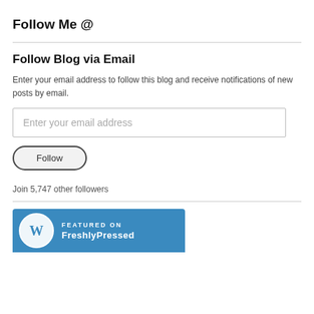Follow Me @
Follow Blog via Email
Enter your email address to follow this blog and receive notifications of new posts by email.
Enter your email address
Follow
Join 5,747 other followers
[Figure (logo): WordPress Featured On banner with WordPress logo and text 'FEATURED ON' and partial text below]